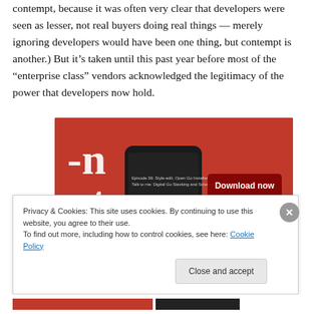contempt, because it was often very clear that developers were seen as lesser, not real buyers doing real things — merely ignoring developers would have been one thing, but contempt is another.) But it's taken until this past year before most of the "enterprise class" vendors acknowledged the legitimacy of the power that developers now hold.
[Figure (screenshot): Advertisement image showing a smartphone app on a red background with text '-uted' and a 'Download now' button]
Privacy & Cookies: This site uses cookies. By continuing to use this website, you agree to their use.
To find out more, including how to control cookies, see here: Cookie Policy
Close and accept